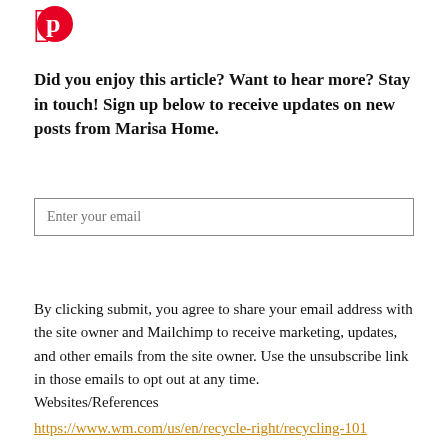[Figure (logo): Pinterest logo icon in red]
Did you enjoy this article? Want to hear more? Stay in touch! Sign up below to receive updates on new posts from Marisa Home.
Enter your email
By clicking submit, you agree to share your email address with the site owner and Mailchimp to receive marketing, updates, and other emails from the site owner. Use the unsubscribe link in those emails to opt out at any time.
Websites/References
https://www.wm.com/us/en/recycle-right/recycling-101